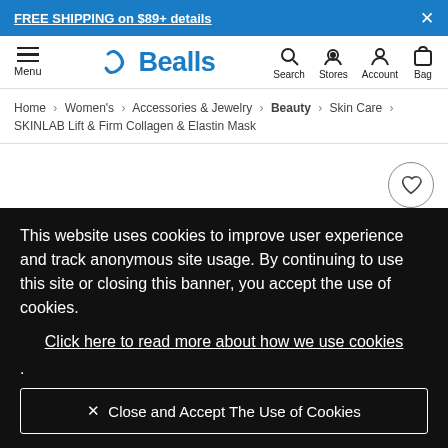FREE SHIPPING on $89+ details
[Figure (logo): Bealls retail store logo with navigation icons: Menu, Search, Stores, Account, Bag]
Home > Women's > Accessories & Jewelry > Beauty > Skin Care > SKINLAB Lift & Firm Collagen & Elastin Mask
This website uses cookies to improve user experience and track anonymous site usage. By continuing to use this site or closing this banner, you accept the use of cookies. Click here to read more about how we use cookies . Close and Accept The Use of Cookies